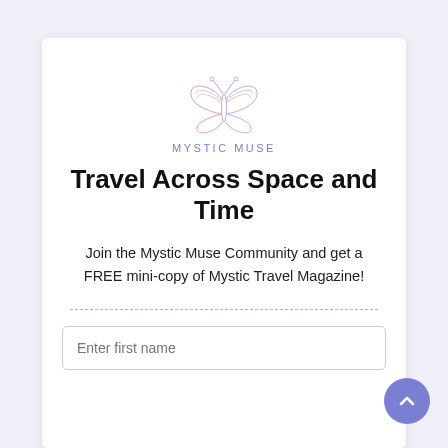[Figure (logo): Mystic Muse butterfly logo in light purple/lavender outline style with the text MYSTIC MUSE below it]
Travel Across Space and Time
Join the Mystic Muse Community and get a FREE mini-copy of Mystic Travel Magazine!